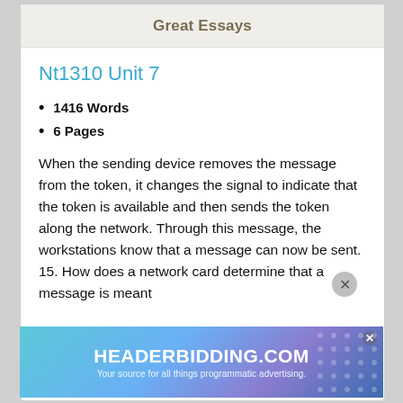Great Essays
Nt1310 Unit 7
1416 Words
6 Pages
When the sending device removes the message from the token, it changes the signal to indicate that the token is available and then sends the token along the network. Through this message, the workstations know that a message can now be sent. 15. How does a network card determine that a message is meant
[Figure (screenshot): Advertisement banner for HEADERBIDDING.COM with tagline 'Your source for all things programmatic advertising.' on a blue/teal gradient background.]